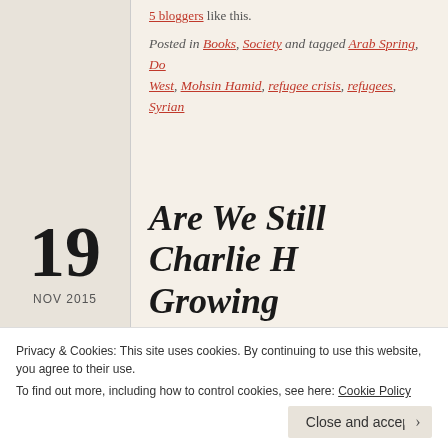5 bloggers like this.
Posted in Books, Society and tagged Arab Spring, Do West, Mohsin Hamid, refugee crisis, refugees, Syrian
19
NOV 2015
Are We Still Charlie H Growing Dissonance Extremism and Free
Privacy & Cookies: This site uses cookies. By continuing to use this website, you agree to their use. To find out more, including how to control cookies, see here: Cookie Policy
Close and accept